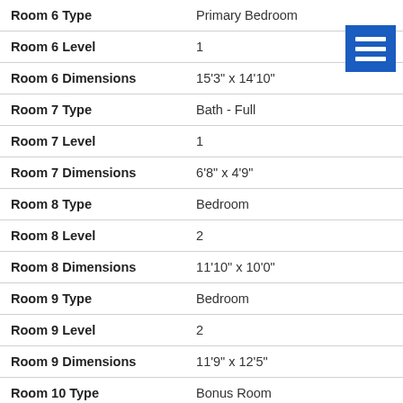| Field | Value |
| --- | --- |
| Room 6 Type | Primary Bedroom |
| Room 6 Level | 1 |
| Room 6 Dimensions | 15'3" x 14'10" |
| Room 7 Type | Bath - Full |
| Room 7 Level | 1 |
| Room 7 Dimensions | 6'8" x 4'9" |
| Room 8 Type | Bedroom |
| Room 8 Level | 2 |
| Room 8 Dimensions | 11'10" x 10'0" |
| Room 9 Type | Bedroom |
| Room 9 Level | 2 |
| Room 9 Dimensions | 11'9" x 12'5" |
| Room 10 Type | Bonus Room |